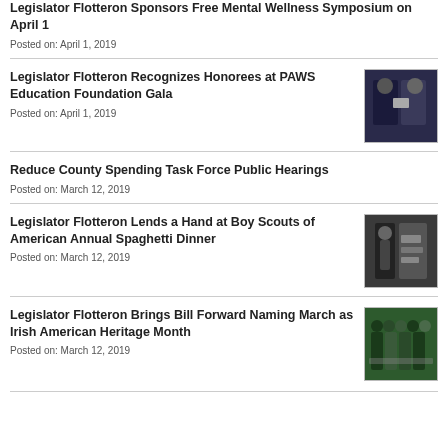Legislator Flotteron Sponsors Free Mental Wellness Symposium on April 1
Posted on: April 1, 2019
Legislator Flotteron Recognizes Honorees at PAWS Education Foundation Gala
Posted on: April 1, 2019
[Figure (photo): Two people at PAWS Education Foundation Gala event]
Reduce County Spending Task Force Public Hearings
Posted on: March 12, 2019
Legislator Flotteron Lends a Hand at Boy Scouts of American Annual Spaghetti Dinner
Posted on: March 12, 2019
[Figure (photo): Person at Boy Scouts of America Annual Spaghetti Dinner]
Legislator Flotteron Brings Bill Forward Naming March as Irish American Heritage Month
Posted on: March 12, 2019
[Figure (photo): Group photo for Irish American Heritage Month]